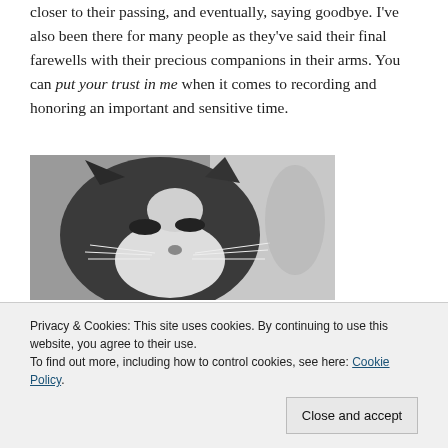closer to their passing, and eventually, saying goodbye. I've also been there for many people as they've said their final farewells with their precious companions in their arms. You can put your trust in me when it comes to recording and honoring an important and sensitive time.
[Figure (photo): Black and white close-up photograph of a cat's face, appearing elderly or sleepy, with dark and white fur markings.]
Privacy & Cookies: This site uses cookies. By continuing to use this website, you agree to their use.
To find out more, including how to control cookies, see here: Cookie Policy